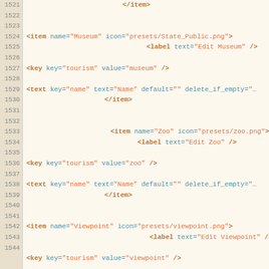[Figure (screenshot): Code editor view showing XML configuration lines 1521-1544 with syntax highlighting. Blue/teal for tag names and attribute names, orange for values and angle brackets. Line numbers shown in left gutter.]